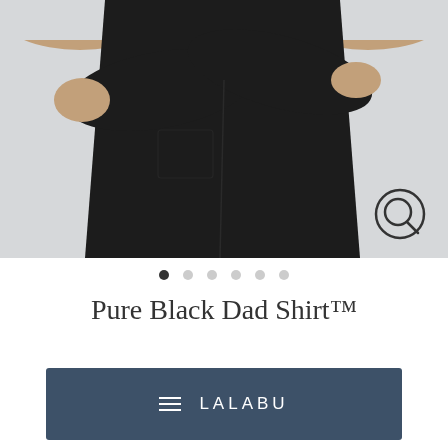[Figure (photo): Person wearing a pure black t-shirt with arms crossed, photographed against a light gray background. A magnifying glass icon appears in the bottom-right corner of the image.]
● ○ ○ ○ ○ ○
Pure Black Dad Shirt™
≡ LALABU